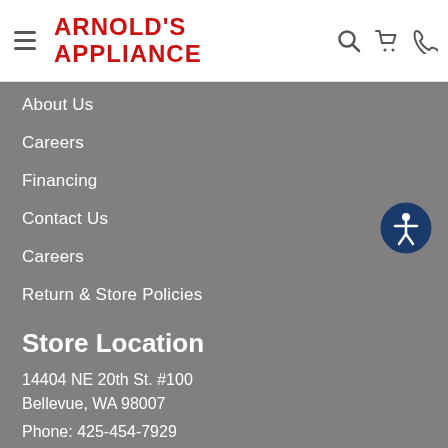ARNOLD'S APPLIANCE
About Us
Careers
Financing
Contact Us
Careers
Return & Store Policies
Store Location
14404 NE 20th St. #100
Bellevue, WA 98007
Phone: 425-454-7929